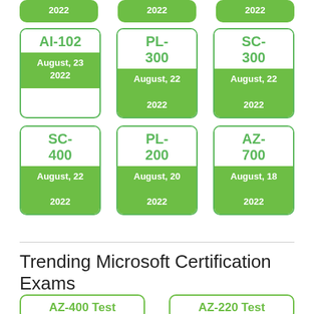[Figure (infographic): Grid of Microsoft certification exam cards showing exam codes and update dates. Top partial row: three green cards showing 2022. Second row: AI-102 (August 23 2022), PL-300 (August 22 2022), SC-300 (August 22 2022). Third row: SC-400 (August 22 2022), PL-200 (August 20 2022), AZ-700 (August 18 2022).]
Trending Microsoft Certification Exams
[Figure (infographic): Bottom partial cards: AZ-400 Test and AZ-220 Test]